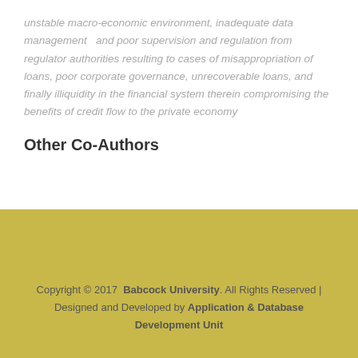unstable macro-economic environment, inadequate data management  and poor supervision and regulation from regulator authorities resulting to cases of misappropriation of loans, poor corporate governance, unrecoverable loans, and finally illiquidity in the financial system therein compromising the benefits of credit flow to the private economy
Other Co-Authors
Copyright © 2017  Babcock University. All Rights Reserved | Designed and Developed by Application & Database Development Unit